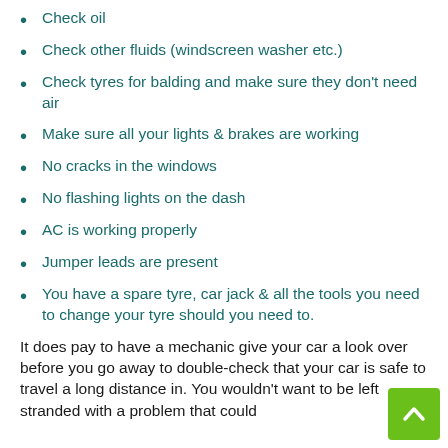Check oil
Check other fluids (windscreen washer etc.)
Check tyres for balding and make sure they don't need air
Make sure all your lights & brakes are working
No cracks in the windows
No flashing lights on the dash
AC is working properly
Jumper leads are present
You have a spare tyre, car jack & all the tools you need to change your tyre should you need to.
It does pay to have a mechanic give your car a look over before you go away to double-check that your car is safe to travel a long distance in. You wouldn't want to be left stranded with a problem that could